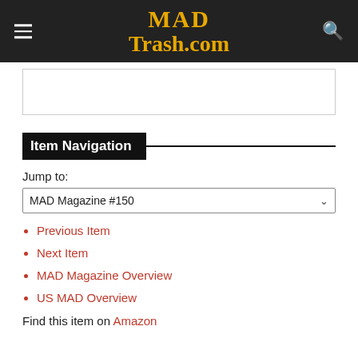MAD Trash.com
[Figure (other): Advertisement placeholder box]
Item Navigation
Jump to:
MAD Magazine #150
Previous Item
Next Item
MAD Magazine Overview
US MAD Overview
Find this item on Amazon